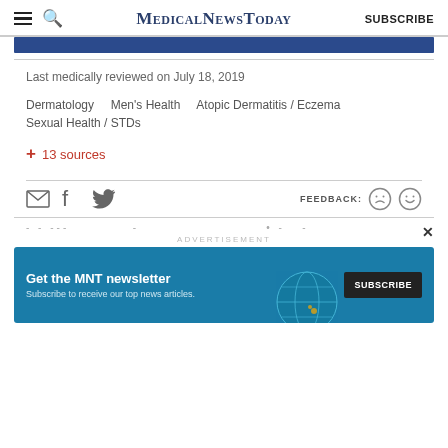MedicalNewsToday SUBSCRIBE
Last medically reviewed on July 18, 2019
Dermatology   Men's Health   Atopic Dermatitis / Eczema   Sexual Health / STDs
+ 13 sources
[Figure (infographic): Social sharing icons (email, Facebook, Twitter) and feedback icons (sad face, happy face) with FEEDBACK label]
[Figure (infographic): Advertisement banner: Get the MNT newsletter - Subscribe to receive our top news articles - SUBSCRIBE button, with globe graphic]